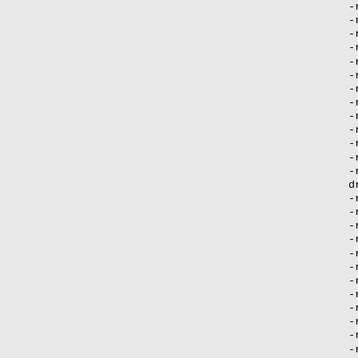-rw------- root/wheel  19425 20
-rw------- root/wheel  40722 20
-rw------- root/wheel  90907 20
-rw------- root/wheel   6463 20
-rw------- root/wheel  66326 20
-rw------- root/wheel  36883 20
-rw------- root/wheel  15658 20
-rw------- root/wheel   8206 20
-rw------- root/wheel  27474 20
-rw------- root/wheel  18501 20
-rw------- root/wheel   6075 20
-rw------- root/wheel   3537 20
-rw------- root/wheel   3473 20
drwx------ root/wheel      0 20
-rw------- root/wheel  11673 20
-rw------- root/wheel    396 20
-rw------- root/wheel   1415 20
-rw------- root/wheel   1303 20
-rw------- root/wheel   1690 20
-rw------- root/wheel   1132 20
-rw------- root/wheel   2346 20
-rw------- root/wheel   1364 20
-rw------- root/wheel   1773 20
-rw------- root/wheel   1753 20
-rw------- root/wheel   1303 20
-rw------- root/wheel   1513 20
-rw------- root/wheel  20368 20